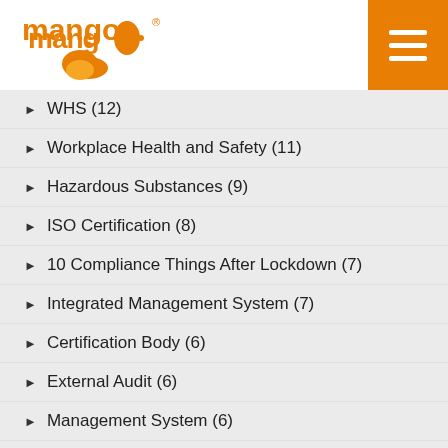mango [logo] + hamburger menu
WHS (12)
Workplace Health and Safety (11)
Hazardous Substances (9)
ISO Certification (8)
10 Compliance Things After Lockdown (7)
Integrated Management System (7)
Certification Body (6)
External Audit (6)
Management System (6)
Training (6)
Audits & Inspections (5)